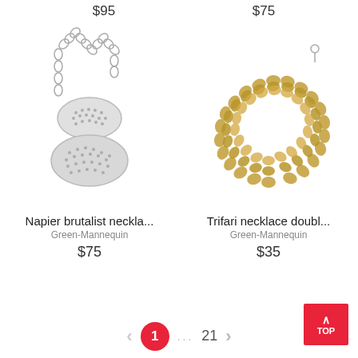$95
$75
[Figure (photo): Napier brutalist necklace with chain and two oval textured silver pendants]
[Figure (photo): Trifari necklace double strand with golden beaded links forming a circular collar]
Napier brutalist neckla...
Green-Mannequin
$75
Trifari necklace doubl...
Green-Mannequin
$35
< 1 ... 21 >